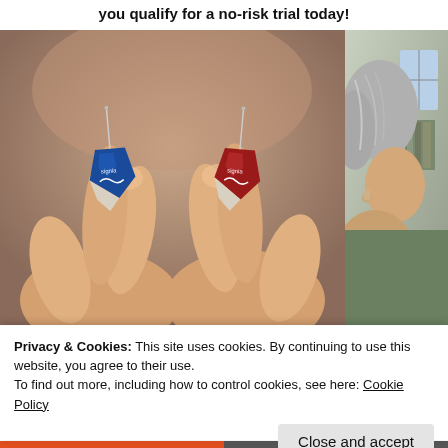you qualify for a no-risk trial today!
[Figure (photo): Two small hearing aids (one blue, one red, both branded Signia) held between fingers against a blurred warm-toned background]
[Figure (photo): Partial view of an elderly person wearing a hearing aid, cropped on the right side]
Privacy & Cookies: This site uses cookies. By continuing to use this website, you agree to their use.
To find out more, including how to control cookies, see here: Cookie Policy
Close and accept